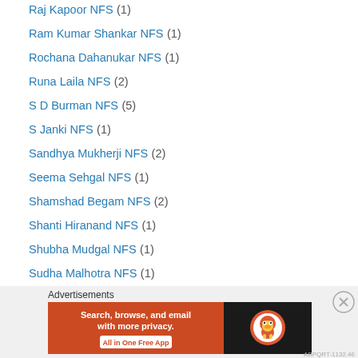Raj Kapoor NFS (1)
Ram Kumar Shankar NFS (1)
Rochana Dahanukar NFS (1)
Runa Laila NFS (2)
S D Burman NFS (5)
S Janki NFS (1)
Sandhya Mukherji NFS (2)
Seema Sehgal NFS (1)
Shamshad Begam NFS (2)
Shanti Hiranand NFS (1)
Shubha Mudgal NFS (1)
Sudha Malhotra NFS (1)
Sujit Chaudhury NFS (1)
Suman Kalyanpur NFS (26)
Surendra NFS (1)
Talat Mehmood NFS (14)
Tamancha Jean NFS (1)
Advertisements
[Figure (screenshot): DuckDuckGo advertisement banner: orange left panel with text 'Search, browse, and email with more privacy. All in One Free App', dark right panel with DuckDuckGo logo]